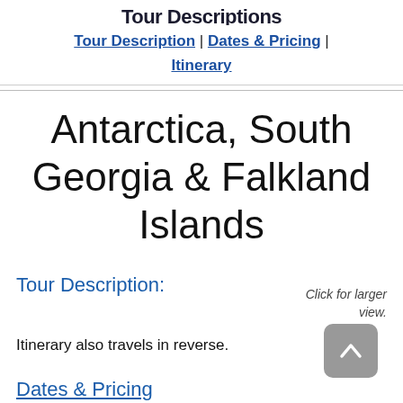Tour Descriptions (partial, cut off at top)
Tour Description | Dates & Pricing | Itinerary
Antarctica, South Georgia & Falkland Islands
Tour Description:
Click for larger view.
Itinerary also travels in reverse.
Dates & Pricing